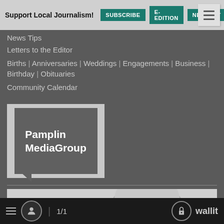Support Local Journalism! SUBSCRIBE E-EDITION NEWSLETT
News Tips
Letters to the Editor
Births | Anniversaries | Weddings | Engagements | Business | Birthday | Obituaries
Community Calendar
[Figure (logo): Pamplin MediaGroup logo — white text on dark grey square with speech bubble notch]
[Figure (photo): Close-up stippled illustration of an elderly man's face]
☰  👤  1/1  🔒 wallit